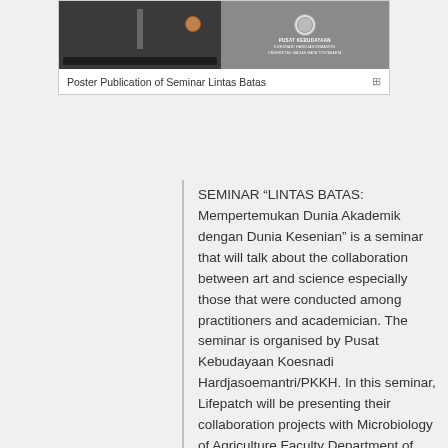[Figure (photo): Poster publication image for Seminar Lintas Batas showing two panels: left dark panel with equipment/lab scene, right panel with PUSAT KEBUDAYAAN logo and text]
Poster Publication of Seminar Lintas Batas
SEMINAR “LINTAS BATAS: Mempertemukan Dunia Akademik dengan Dunia Kesenian” is a seminar that will talk about the collaboration between art and science especially those that were conducted among practitioners and academician. The seminar is organised by Pusat Kebudayaan Koesnadi Hardjasoemantri/PKKH. In this seminar, Lifepatch will be presenting their collaboration projects with Microbiology of Agriculture Faculty Department of UGM. Irfan D. Prijambada will also give a presentation representing the UGM side.